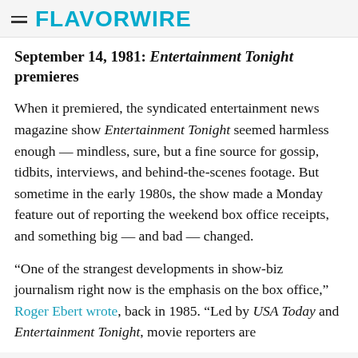FLAVORWIRE
September 14, 1981: Entertainment Tonight premieres
When it premiered, the syndicated entertainment news magazine show Entertainment Tonight seemed harmless enough — mindless, sure, but a fine source for gossip, tidbits, interviews, and behind-the-scenes footage. But sometime in the early 1980s, the show made a Monday feature out of reporting the weekend box office receipts, and something big — and bad — changed.
“One of the strangest developments in show-biz journalism right now is the emphasis on the box office,” Roger Ebert wrote, back in 1985. “Led by USA Today and Entertainment Tonight, movie reporters are